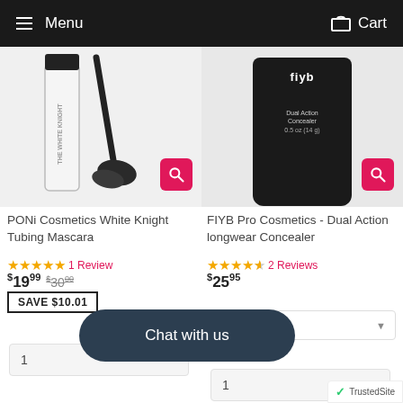Menu  Cart
[Figure (photo): PONi Cosmetics White Knight Tubing Mascara product image]
PONi Cosmetics White Knight Tubing Mascara
★★★★★ 1 Review
$19.99  $30.00  SAVE $10.01
[Figure (photo): FIYB Pro Cosmetics Dual Action Concealer product image]
FIYB Pro Cosmetics - Dual Action longwear Concealer
★★★★★ 2 Reviews
$25.95
Light
Chat with us
1
1
TrustedSite